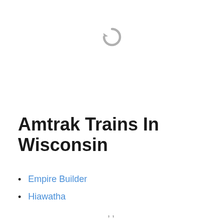[Figure (other): Gray circular loading/refresh icon (browser loading spinner or refresh symbol)]
Amtrak Trains In Wisconsin
Empire Builder
Hiawatha